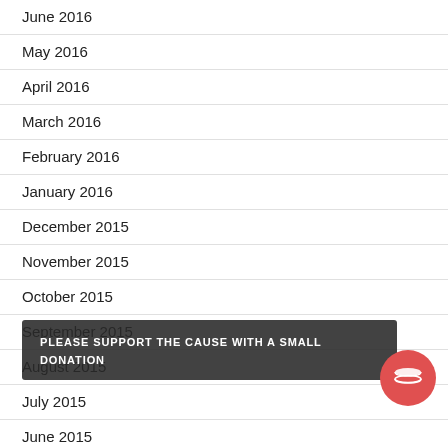June 2016
May 2016
April 2016
March 2016
February 2016
January 2016
December 2015
November 2015
October 2015
September 2015
August 2015
July 2015
June 2015
May 2015
PLEASE SUPPORT THE CAUSE WITH A SMALL DONATION